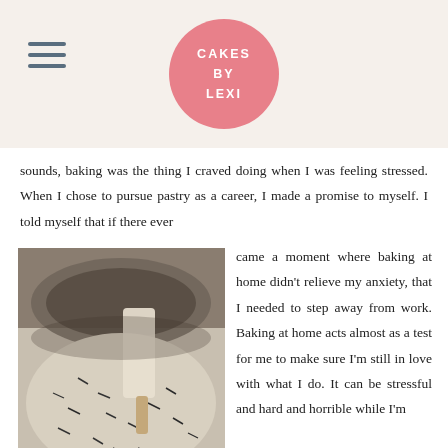CAKES BY LEXI
sounds, baking was the thing I craved doing when I was feeling stressed. When I chose to pursue pastry as a career, I made a promise to myself. I told myself that if there ever came a moment where baking at home didn't relieve my anxiety, that I needed to step away from work. Baking at home acts almost as a test for me to make sure I'm still in love with what I do. It can be stressful and hard and horrible while I'm
[Figure (photo): Close-up photo of ingredients being mixed in a bowl with a spatula, showing flour and dark seeds or spices]